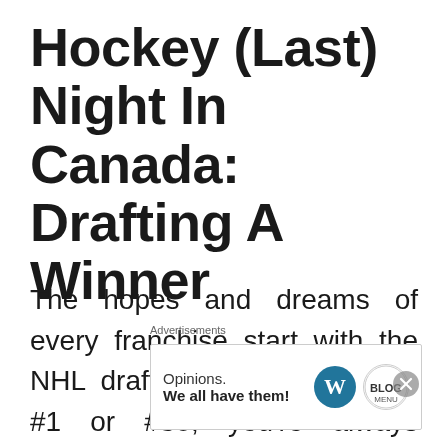Hockey (Last) Night In Canada: Drafting A Winner
The hopes and dreams of every franchise start with the NHL draft. Whether you draft #1 or #30, you're always looking for the next
Advertisements
[Figure (other): Advertisement banner reading 'Opinions. We all have them!' with WordPress and Blog Menu logos]